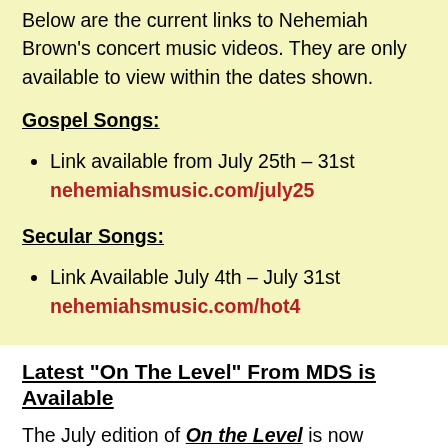Below are the current links to Nehemiah Brown's concert music videos. They are only available to view within the dates shown.
Gospel Songs:
Link available from July 25th – 31st nehemiahsmusic.com/july25
Secular Songs:
Link Available July 4th – July 31st nehemiahsmusic.com/hot4
Latest "On The Level" From MDS is Available
The July edition of On the Level is now available from Mennonite Disaster Service. In our current issue: MDS volunteers celebrate creativity during the